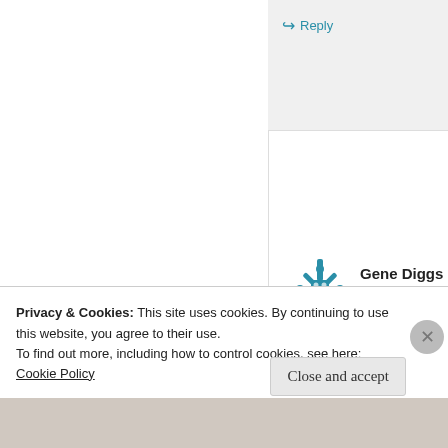↳ Reply
[Figure (illustration): Blue snowflake/asterisk avatar icon for user Gene Diggs]
Gene Diggs
August 3, 2012
at 7:41 pm
I had been taking to Excedrin daily since 1986. Now that I am
Privacy & Cookies: This site uses cookies. By continuing to use this website, you agree to their use.
To find out more, including how to control cookies, see here: Cookie Policy
Close and accept